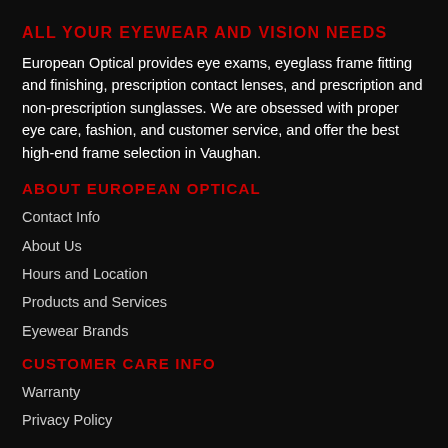ALL YOUR EYEWEAR AND VISION NEEDS
European Optical provides eye exams, eyeglass frame fitting and finishing, prescription contact lenses, and prescription and non-prescription sunglasses. We are obsessed with proper eye care, fashion, and customer service, and offer the best high-end frame selection in Vaughan.
ABOUT EUROPEAN OPTICAL
Contact Info
About Us
Hours and Location
Products and Services
Eyewear Brands
CUSTOMER CARE INFO
Warranty
Privacy Policy